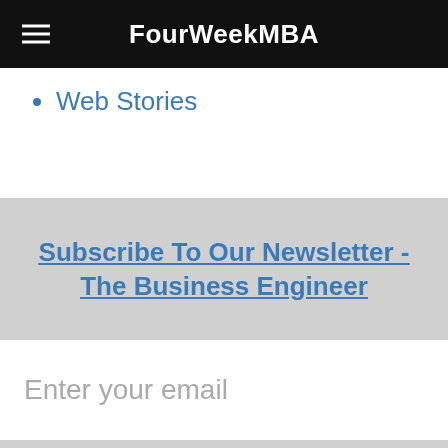FourWeekMBA
Web Stories
Subscribe To Our Newsletter - The Business Engineer
Enter your email
Join The Newsletter